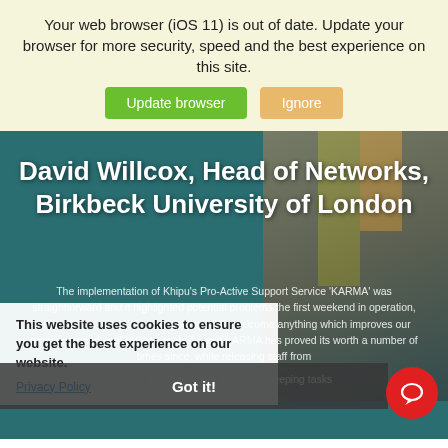Your web browser (iOS 11) is out of date. Update your browser for more security, speed and the best experience on this site.
Update browser  Ignore
David Willcox, Head of Networks, Birkbeck University of London
The implementation of Khipu's Pro-Active Support Service 'KARMA' was straightforward and it highlighted potential problems the first weekend in operation, preventing a potential service outage. We welcome anything which improves our monitoring and notification capability, and KARMA has proved its worth a number of times since, while releasing staff from day to day monitoring and housekeeping tasks
This website uses cookies to ensure you get the best experience on our website.
Privacy Policy
Got it!